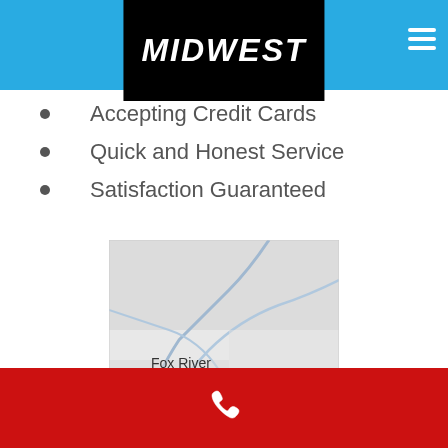[Figure (logo): Midwest logo in white bold italic text on black background, set within a blue header bar with hamburger menu icon on right]
Accepting Credit Cards
Quick and Honest Service
Satisfaction Guaranteed
[Figure (map): Map showing Fox River area with light gray terrain and blue river lines]
[Figure (illustration): White phone handset icon on red footer bar]